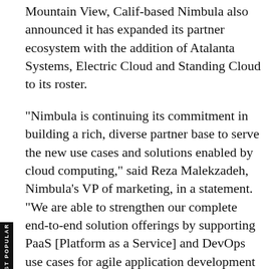Mountain View, Calif-based Nimbula also announced it has expanded its partner ecosystem with the addition of Atalanta Systems, Electric Cloud and Standing Cloud to its roster.
"Nimbula is continuing its commitment in building a rich, diverse partner base to serve the new use cases and solutions enabled by cloud computing," said Reza Malekzadeh, Nimbula's VP of marketing, in a statement. "We are able to strengthen our complete end-to-end solution offerings by supporting PaaS [Platform as a Service] and DevOps use cases for agile application development and by supporting additional storage solutions."
Atalanta Systems will provide integration of Opscode Chef with Nimbula Director, enabling customers to use Chef to orchestrate and manage workloads running on the Nimbula platform. Electric Cloud is enabling its Electric Commander